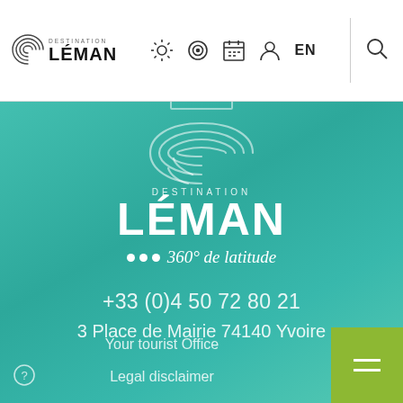[Figure (logo): Destination Léman tourism website navigation bar with logo, icons (sun, camera, calendar, person), EN language selector, and search icon]
[Figure (logo): Destination Léman logo centered on teal gradient background with wave/fingerprint motif, text DESTINATION LÉMAN, tagline '... 360° de latitude']
+33 (0)4 50 72 80 21
3 Place de Mairie 74140 Yvoire
Your tourist Office
Legal disclaimer